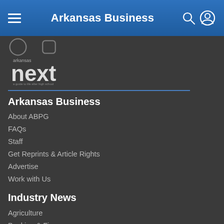Arkansas Business
[Figure (logo): Arkansas Next logo - a guide to life after high school]
Arkansas Business
About ABPG
FAQs
Staff
Get Reprints & Article Rights
Advertise
Work with Us
Industry News
Agriculture
Banking & Finance
Business Services
Construction